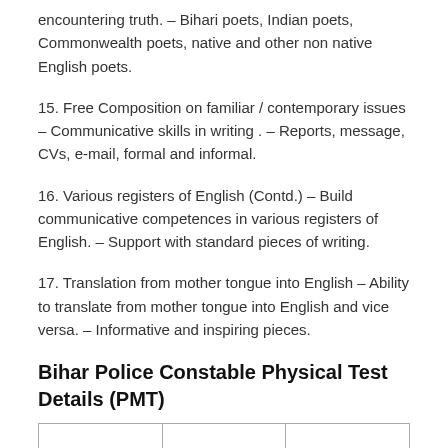encountering truth. – Bihari poets, Indian poets, Commonwealth poets, native and other non native English poets.
15. Free Composition on familiar / contemporary issues – Communicative skills in writing . – Reports, message, CVs, e-mail, formal and informal.
16. Various registers of English (Contd.) – Build communicative competences in various registers of English. – Support with standard pieces of writing.
17. Translation from mother tongue into English – Ability to translate from mother tongue into English and vice versa. – Informative and inspiring pieces.
Bihar Police Constable Physical Test Details (PMT)
|  |  |  |